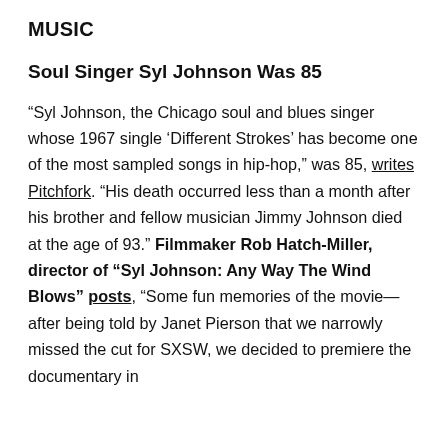MUSIC
Soul Singer Syl Johnson Was 85
“Syl Johnson, the Chicago soul and blues singer whose 1967 single ‘Different Strokes’ has become one of the most sampled songs in hip-hop,” was 85, writes Pitchfork. “His death occurred less than a month after his brother and fellow musician Jimmy Johnson died at the age of 93.” Filmmaker Rob Hatch-Miller, director of “Syl Johnson: Any Way The Wind Blows” posts, “Some fun memories of the movie—after being told by Janet Pierson that we narrowly missed the cut for SXSW, we decided to premiere the documentary in